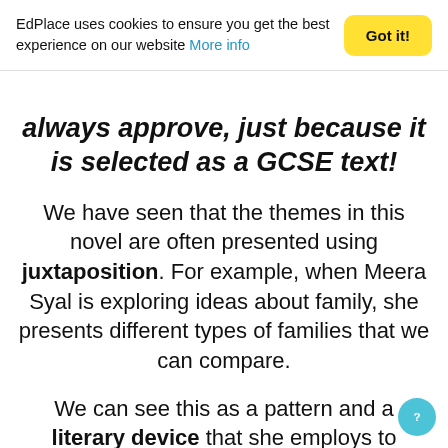EdPlace uses cookies to ensure you get the best experience on our website More info
always approve, just because it is selected as a GCSE text!
We have seen that the themes in this novel are often presented using juxtaposition. For example, when Meera Syal is exploring ideas about family, she presents different types of families that we can compare.
We can see this as a pattern and a literary device that she employs to present different themes. It is a